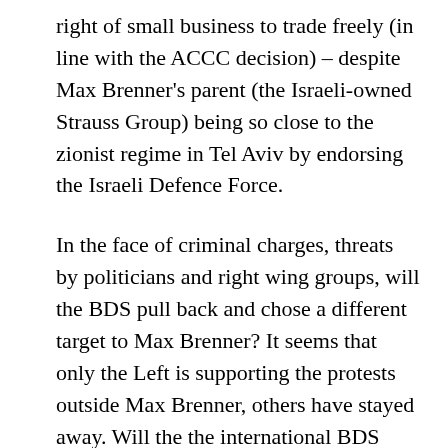right of small business to trade freely (in line with the ACCC decision) – despite Max Brenner's parent (the Israeli-owned Strauss Group) being so close to the zionist regime in Tel Aviv by endorsing the Israeli Defence Force.
In the face of criminal charges, threats by politicians and right wing groups, will the BDS pull back and chose a different target to Max Brenner? It seems that only the Left is supporting the protests outside Max Brenner, others have stayed away. Will the the international BDS movement try to direct the struggle to targets where larger numbers of people can be mobilised to participate in the actions? That is the broader front involving people not usually associated with left-wing revolutionary groups?
Meanwhile the campaign for UN recognition of a